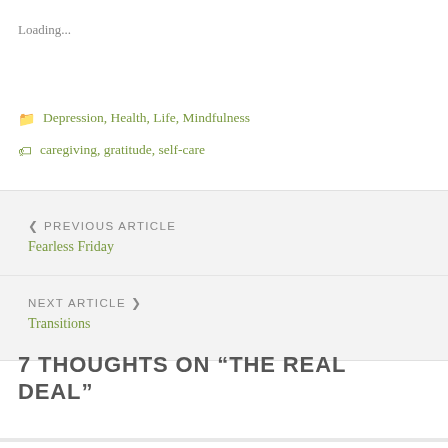Loading...
Depression, Health, Life, Mindfulness
caregiving, gratitude, self-care
< PREVIOUS ARTICLE
Fearless Friday
NEXT ARTICLE >
Transitions
7 THOUGHTS ON “THE REAL DEAL”